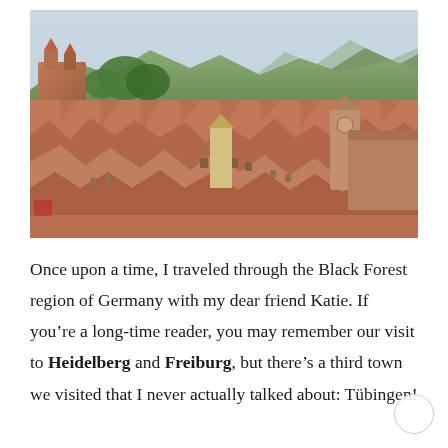[Figure (photo): Aerial/elevated view of a historic German town with red-tiled rooftops, medieval buildings, a castle or fortress on the upper left hill, trees, and a valley with mountains in the background under a light sky — likely Tübingen, Germany.]
Once upon a time, I traveled through the Black Forest region of Germany with my dear friend Katie. If you're a long-time reader, you may remember our visit to Heidelberg and Freiburg, but there's a third town we visited that I never actually talked about: Tübingen!